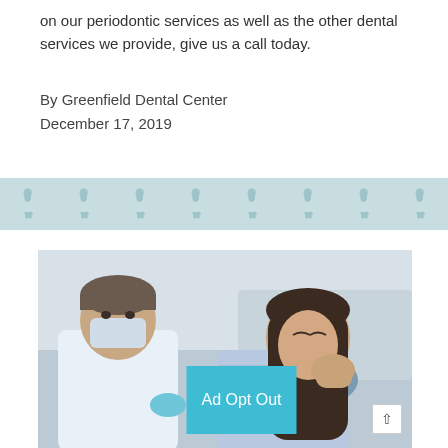on our periodontic services as well as the other dental services we provide, give us a call today.
By Greenfield Dental Center
December 17, 2019
[Figure (illustration): Decorative banner with repeating tooth icons in two rows on a light teal/blue background]
[Figure (photo): A dentist wearing a mask and gloves examining a female patient who is touching her cheek with her hand, suggesting tooth pain. A blue 'Ad Opt Out' button overlay is shown in the lower center.]